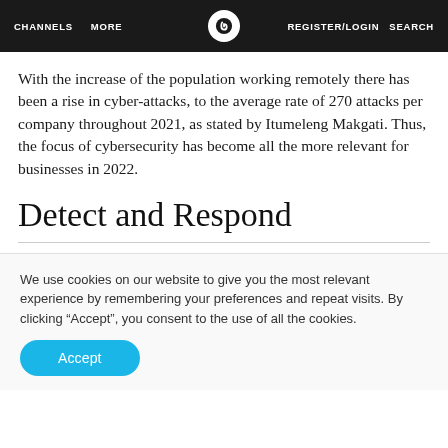CHANNELS   MORE   [logo]   REGISTER/LOGIN   SEARCH
With the increase of the population working remotely there has been a rise in cyber-attacks, to the average rate of 270 attacks per company throughout 2021, as stated by Itumeleng Makgati. Thus, the focus of cybersecurity has become all the more relevant for businesses in 2022.
Detect and Respond
We use cookies on our website to give you the most relevant experience by remembering your preferences and repeat visits. By clicking “Accept”, you consent to the use of all the cookies.
Accept